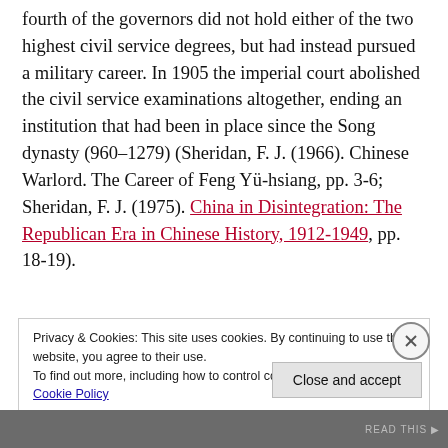fourth of the governors did not hold either of the two highest civil service degrees, but had instead pursued a military career. In 1905 the imperial court abolished the civil service examinations altogether, ending an institution that had been in place since the Song dynasty (960–1279) (Sheridan, F. J. (1966). Chinese Warlord. The Career of Feng Yü-hsiang, pp. 3-6; Sheridan, F. J. (1975). China in Disintegration: The Republican Era in Chinese History, 1912-1949, pp. 18-19).
Privacy & Cookies: This site uses cookies. By continuing to use this website, you agree to their use. To find out more, including how to control cookies, see here: Cookie Policy
Close and accept